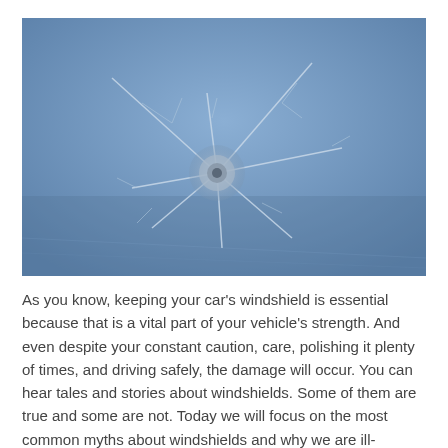[Figure (photo): Close-up photograph of a cracked windshield with a central impact point showing radial cracks spreading outward, set against a blue sky background.]
As you know, keeping your car's windshield is essential because that is a vital part of your vehicle's strength. And even despite your constant caution, care, polishing it plenty of times, and driving safely, the damage will occur. You can hear tales and stories about windshields. Some of them are true and some are not. Today we will focus on the most common myths about windshields and why we are ill-